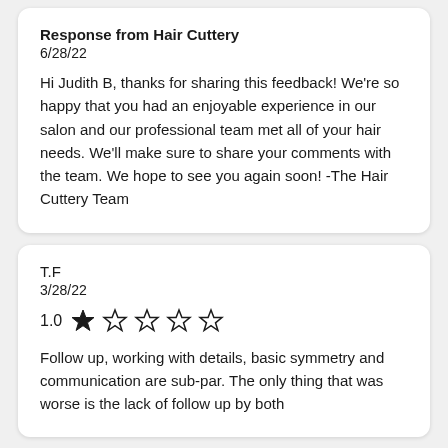Response from Hair Cuttery
6/28/22
Hi Judith B, thanks for sharing this feedback! We're so happy that you had an enjoyable experience in our salon and our professional team met all of your hair needs. We'll make sure to share your comments with the team. We hope to see you again soon! -The Hair Cuttery Team
T.F
3/28/22
1.0 ★ ☆ ☆ ☆ ☆
Follow up, working with details, basic symmetry and communication are sub-par. The only thing that was worse is the lack of follow up by both